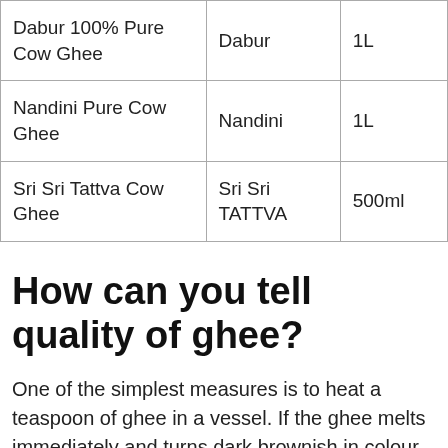| Dabur 100% Pure Cow Ghee | Dabur | 1L |
| Nandini Pure Cow Ghee | Nandini | 1L |
| Sri Sri Tattva Cow Ghee | Sri Sri TATTVA | 500ml |
How can you tell quality of ghee?
One of the simplest measures is to heat a teaspoon of ghee in a vessel. If the ghee melts immediately and turns dark brownish in colour, then it is of pure quality. However, if it takes time to melt and turns light yellow